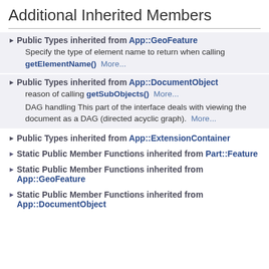Additional Inherited Members
Public Types inherited from App::GeoFeature
Specify the type of element name to return when calling getElementName()  More...
Public Types inherited from App::DocumentObject
reason of calling getSubObjects()  More...
DAG handling This part of the interface deals with viewing the document as a DAG (directed acyclic graph).  More...
Public Types inherited from App::ExtensionContainer
Static Public Member Functions inherited from Part::Feature
Static Public Member Functions inherited from App::GeoFeature
Static Public Member Functions inherited from App::DocumentObject